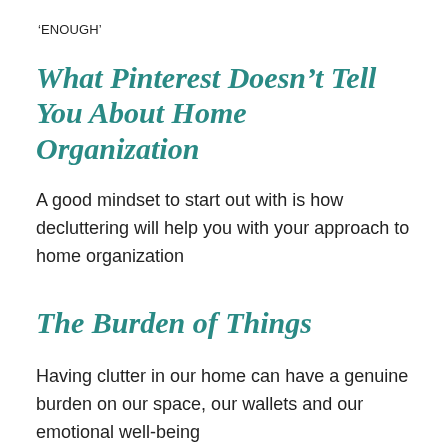‘ENOUGH’
What Pinterest Doesn’t Tell You About Home Organization
A good mindset to start out with is how decluttering will help you with your approach to home organization
The Burden of Things
Having clutter in our home can have a genuine burden on our space, our wallets and our emotional well-being